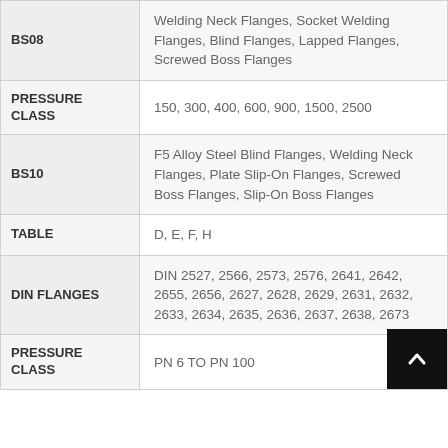| Standard | Details |
| --- | --- |
| BS08 | Welding Neck Flanges, Socket Welding Flanges, Blind Flanges, Lapped Flanges, Screwed Boss Flanges |
| PRESSURE CLASS | 150, 300, 400, 600, 900, 1500, 2500 |
| BS10 | F5 Alloy Steel Blind Flanges, Welding Neck Flanges, Plate Slip-On Flanges, Screwed Boss Flanges, Slip-On Boss Flanges |
| TABLE | D, E, F, H |
| DIN FLANGES | DIN 2527, 2566, 2573, 2576, 2641, 2642, 2655, 2656, 2627, 2628, 2629, 2631, 2632, 2633, 2634, 2635, 2636, 2637, 2638, 2673 |
| PRESSURE CLASS | PN 6 TO PN 100 |